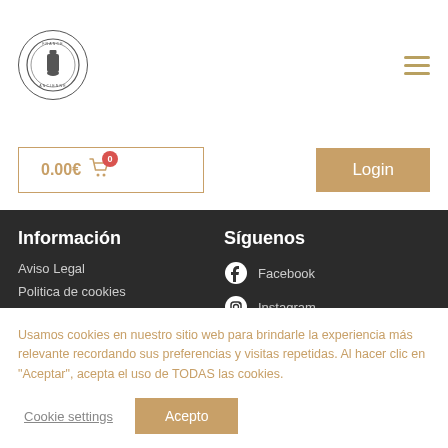[Figure (logo): Circular logo with a wine bottle silhouette and text around the border]
[Figure (infographic): Hamburger menu icon (three horizontal golden lines)]
0.00€
Login
Información
Síguenos
Aviso Legal
Politica de cookies
Política de privacidad
Política de devoluciones
Política de envíos
Facebook
Instagram
Twitter
Usamos cookies en nuestro sitio web para brindarle la experiencia más relevante recordando sus preferencias y visitas repetidas. Al hacer clic en "Aceptar", acepta el uso de TODAS las cookies.
Cookie settings
Acepto